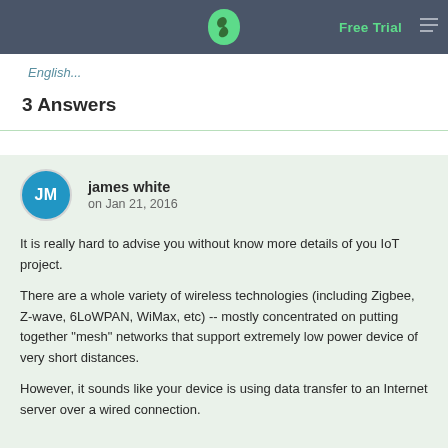Free Trial
English...
3 Answers
james white
on Jan 21, 2016
It is really hard to advise you without know more details of you IoT project.
There are a whole variety of wireless technologies (including Zigbee, Z-wave, 6LoWPAN, WiMax, etc) -- mostly concentrated on putting together "mesh" networks that support extremely low power device of very short distances.
However, it sounds like your device is using data transfer to an Internet server over a wired connection.